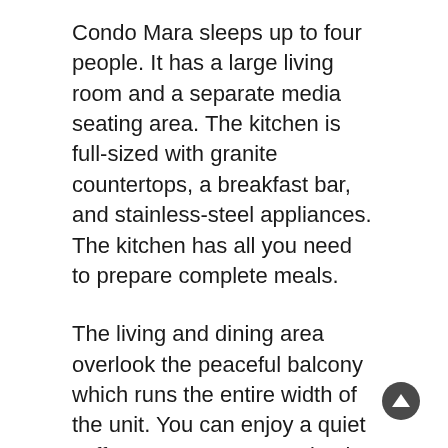Condo Mara sleeps up to four people. It has a large living room and a separate media seating area. The kitchen is full-sized with granite countertops, a breakfast bar, and stainless-steel appliances. The kitchen has all you need to prepare complete meals.
The living and dining area overlook the peaceful balcony which runs the entire width of the unit. You can enjoy a quiet coffee or tea every morning in the gentle breeze amongst tropical plants with a view of the ground floor pool.
The spacious bedroom features a king-sized bed complete with quality linens and comfortable pillows. The window has black out curtains to help you sleep. A closet contains pull out drawers and many hangers for your clothes. It has a safety deposit box to store your valuables. The bedroom has a wall mounted television, a telephone, and a